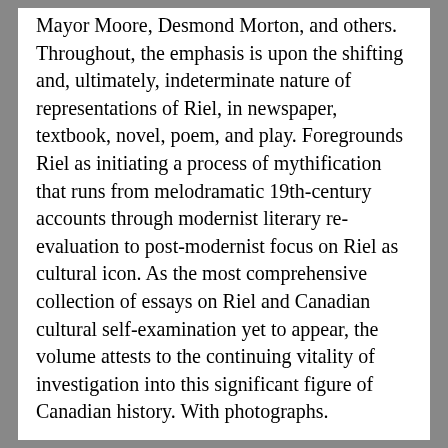Mayor Moore, Desmond Morton, and others. Throughout, the emphasis is upon the shifting and, ultimately, indeterminate nature of representations of Riel, in newspaper, textbook, novel, poem, and play. Foregrounds Riel as initiating a process of mythification that runs from melodramatic 19th-century accounts through modernist literary re-evaluation to post-modernist focus on Riel as cultural icon. As the most comprehensive collection of essays on Riel and Canadian cultural self-examination yet to appear, the volume attests to the continuing vitality of investigation into this significant figure of Canadian history. With photographs.
Price: $259.95
Add to Cart